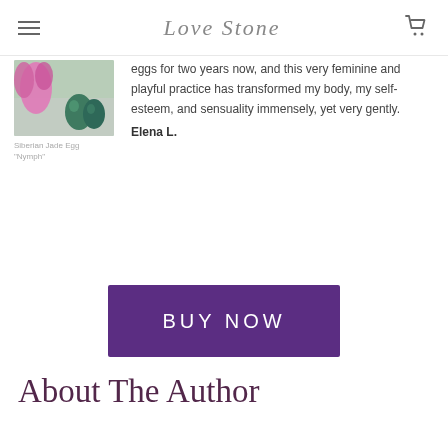Love Stone
[Figure (photo): Photo of two dark green jade eggs next to a pink flower on a grey surface]
Siberian Jade Egg "Nymph"
eggs for two years now, and this very feminine and playful practice has transformed my body, my self-esteem, and sensuality immensely, yet very gently.
Elena L.
[Figure (other): Purple BUY NOW button]
About The Author